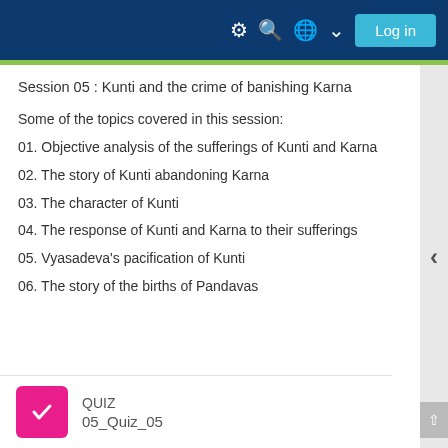Log in
Session 05 : Kunti and the crime of banishing Karna
Some of the topics covered in this session:
01. Objective analysis of the sufferings of Kunti and Karna
02. The story of Kunti abandoning Karna
03. The character of Kunti
04. The response of Kunti and Karna to their sufferings
05. Vyasadeva's pacification of Kunti
06. The story of the births of Pandavas
QUIZ
05_Quiz_05